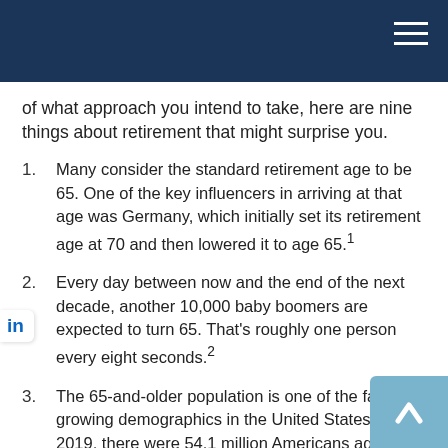of what approach you intend to take, here are nine things about retirement that might surprise you.
Many consider the standard retirement age to be 65. One of the key influencers in arriving at that age was Germany, which initially set its retirement age at 70 and then lowered it to age 65.¹
Every day between now and the end of the next decade, another 10,000 baby boomers are expected to turn 65. That's roughly one person every eight seconds.²
The 65-and-older population is one of the fastest growing demographics in the United States. In 2019, there were 54.1 million Americans aged 65 and older. That number is expected to increase to 80.8 million